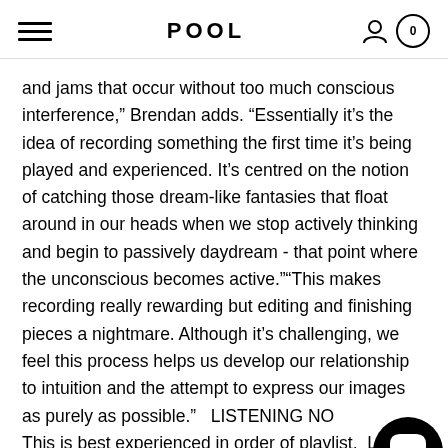POOL
and jams that occur without too much conscious interference," Brendan adds. "Essentially it's the idea of recording something the first time it's being played and experienced. It's centred on the notion of catching those dream-like fantasies that float around in our heads when we stop actively thinking and begin to passively daydream - that point where the unconscious becomes active.""This makes recording really rewarding but editing and finishing pieces a nightmare. Although it's challenging, we feel this process helps us develop our relationship to intuition and the attempt to express our images as purely as possible."  LISTENING NO... This is best experienced in order of playlist.  Listen. You